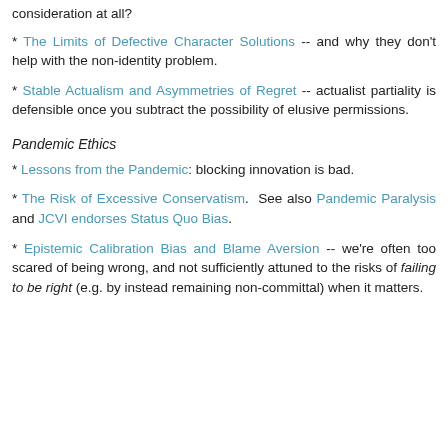consideration at all?
* The Limits of Defective Character Solutions -- and why they don't help with the non-identity problem.
* Stable Actualism and Asymmetries of Regret -- actualist partiality is defensible once you subtract the possibility of elusive permissions.
Pandemic Ethics
* Lessons from the Pandemic: blocking innovation is bad.
* The Risk of Excessive Conservatism.  See also Pandemic Paralysis and JCVI endorses Status Quo Bias.
* Epistemic Calibration Bias and Blame Aversion -- we're often too scared of being wrong, and not sufficiently attuned to the risks of failing to be right (e.g. by instead remaining non-committal) when it matters.